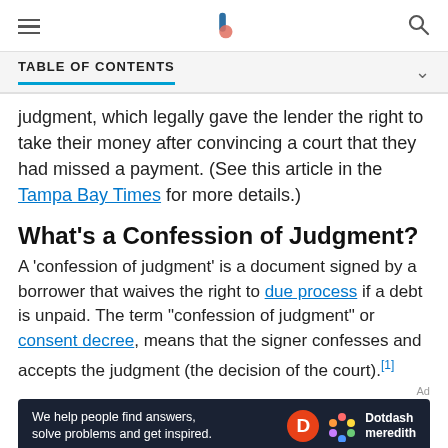[Navigation bar with hamburger menu, logo, and search icon]
TABLE OF CONTENTS
judgment, which legally gave the lender the right to take their money after convincing a court that they had missed a payment. (See this article in the Tampa Bay Times for more details.)
What's a Confession of Judgment?
A 'confession of judgment' is a document signed by a borrower that waives the right to due process if a debt is unpaid. The term "confession of judgment" or consent decree, means that the signer confesses and accepts the judgment (the decision of the court).[1]
[Figure (other): Dotdash Meredith advertisement banner with text: We help people find answers, solve problems and get inspired.]